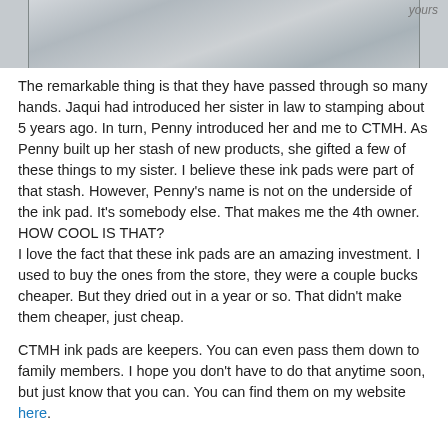[Figure (photo): Top portion of a photo showing stamping/crafting supplies on a grid mat background, partially cropped]
The remarkable thing is that they have passed through so many hands.  Jaqui had introduced her sister in law to stamping about 5 years ago.  In turn, Penny introduced her and me to CTMH.  As Penny built up her stash of new products, she gifted a few of these things to my sister.  I believe these ink pads were part of that stash.  However, Penny's name is not on the underside of the ink pad.  It's somebody else.  That makes me the 4th owner.  HOW COOL IS THAT?
I love the fact that these ink pads are an amazing investment.  I used to buy the ones from the store, they were a couple bucks cheaper. But they dried out in a year or so.  That didn't make them cheaper, just cheap.
CTMH ink pads are keepers.  You can even pass them down to family members.  I hope you don't have to do that anytime soon, but just know that you can.  You can find them on my website here.